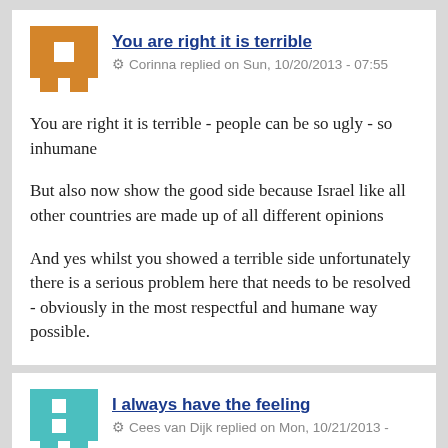You are right it is terrible
Corinna replied on Sun, 10/20/2013 - 07:55
You are right it is terrible - people can be so ugly - so inhumane

But also now show the good side because Israel like all other countries are made up of all different opinions

And yes whilst you showed a terrible side unfortunately there is a serious problem here that needs to be resolved - obviously in the most respectful and humane way possible.
I always have the feeling
Cees van Dijk replied on Mon, 10/21/2013 -